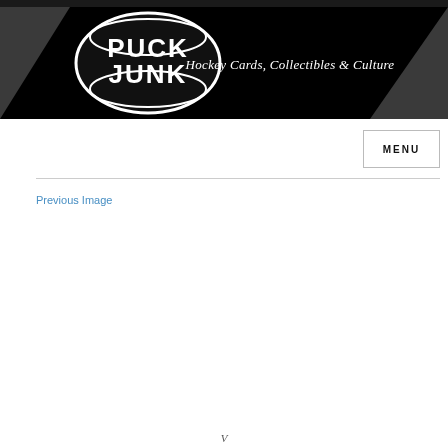[Figure (logo): Puck Junk logo — black banner with hockey puck graphic showing 'PUCK JUNK' text and tagline 'Hockey Cards, Collectibles & Culture']
MENU
Previous Image